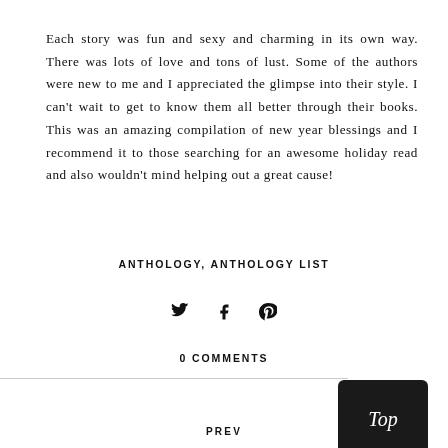Each story was fun and sexy and charming in its own way. There was lots of love and tons of lust. Some of the authors were new to me and I appreciated the glimpse into their style. I can't wait to get to know them all better through their books. This was an amazing compilation of new year blessings and I recommend it to those searching for an awesome holiday read and also wouldn't mind helping out a great cause!
ANTHOLOGY, ANTHOLOGY LIST
[Figure (other): Social sharing icons: Twitter bird, Facebook f, Pinterest p]
0 COMMENTS
[Figure (other): Top button - dark rounded rectangle with italic 'Top' text]
PREV